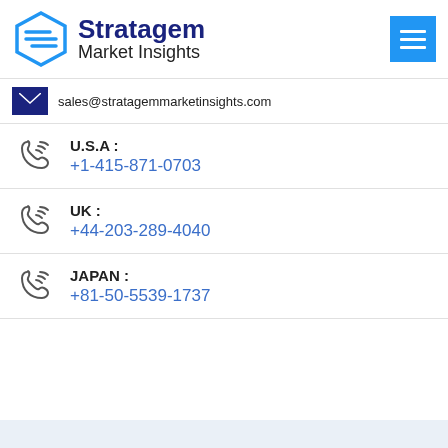[Figure (logo): Stratagem Market Insights logo with hexagonal S icon in blue, company name in navy bold text, and a blue hamburger menu button on the right]
sales@stratagemmarketinsights.com
U.S.A : +1-415-871-0703
UK : +44-203-289-4040
JAPAN : +81-50-5539-1737